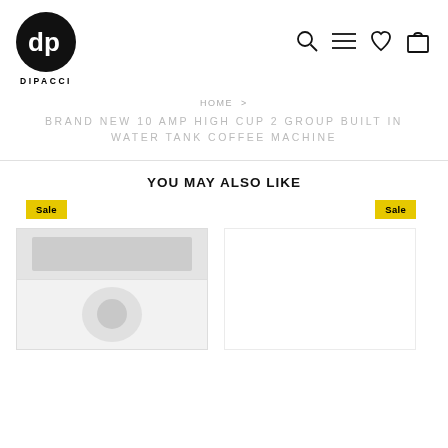[Figure (logo): Dipacci logo — black circle with 'dp' monogram, text 'DIPACCI' below]
Navigation icons: search, menu (hamburger), heart/wishlist, shopping bag
HOME >
BRAND NEW 10 AMP HIGH CUP 2 GROUP BUILT IN WATER TANK COFFEE MACHINE
YOU MAY ALSO LIKE
[Figure (photo): Product image with Sale badge — coffee machine, left product card]
[Figure (photo): Product image placeholder with Sale badge — right product card, no image shown]